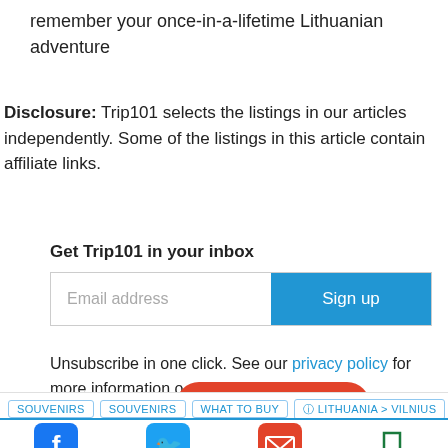remember your once-in-a-lifetime Lithuanian adventure
Disclosure: Trip101 selects the listings in our articles independently. Some of the listings in this article contain affiliate links.
Get Trip101 in your inbox
Email address  Sign up
Unsubscribe in one click. See our privacy policy for more information on our data
Explore Vilnius
SOUVENIRS  SOUVENIRS  WHAT TO BUY  LITHUANIA > VILNIUS